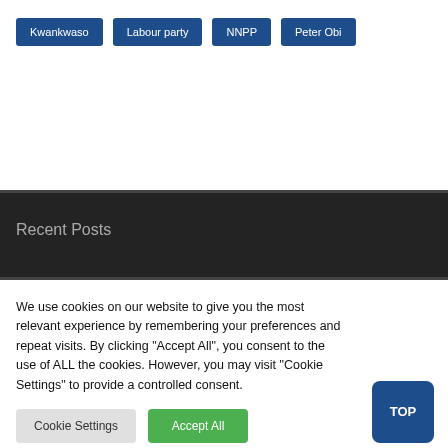Kwankwaso
Labour party
NNPP
Peter Obi
Recent Posts
We use cookies on our website to give you the most relevant experience by remembering your preferences and repeat visits. By clicking “Accept All”, you consent to the use of ALL the cookies. However, you may visit "Cookie Settings" to provide a controlled consent.
Cookie Settings
Accept All
TOP